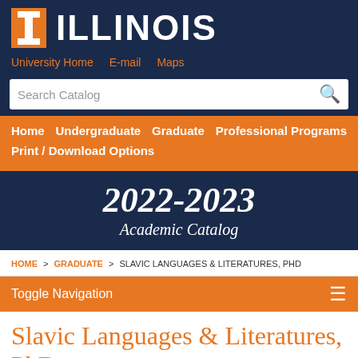ILLINOIS
University Home   E-mail   Maps
Search Catalog
Home   Undergraduate   Graduate   Professional Programs   Print / Download Options
2022-2023 Academic Catalog
HOME > GRADUATE > SLAVIC LANGUAGES & LITERATURES, PHD
Toggle Navigation
Slavic Languages & Literatures, PhD
Cookie Notice